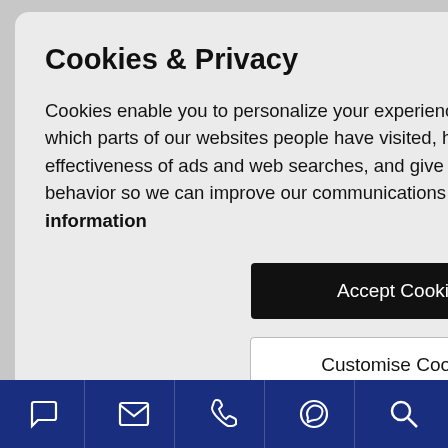ghest qualities a. Walking utes from the enters. It has large house on ite), 4 ers. An en with as well as air t in each t, tv, ouse. Double alising in new and office is located in
Cookies & Privacy
Cookies enable you to personalize your experience on our site, tell us which parts of our websites people have visited, help us measure the effectiveness of ads and web searches, and give us insights into user behavior so we can improve our communications and products. More information
Accept Cookies
Customise Cookies